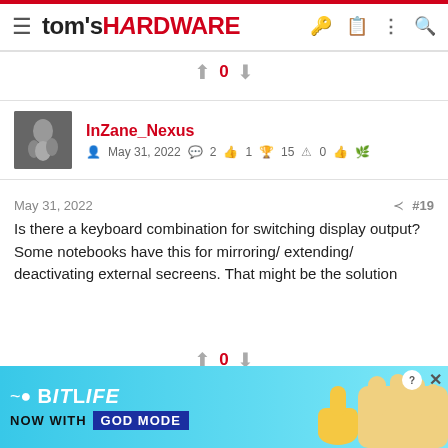tom's HARDWARE
↑ 0 ↓
InZane_Nexus
May 31, 2022  2  1  15  0
May 31, 2022  #19
Is there a keyboard combination for switching display output? Some notebooks have this for mirroring/ extending/ deactivating external secreens. That might be the solution
↑ 0 ↓
[Figure (screenshot): BitLife advertisement banner - NOW WITH GOD MODE]